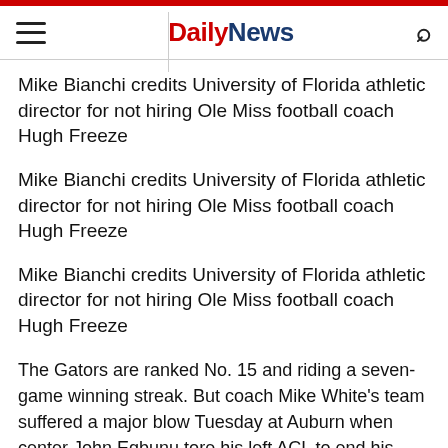Daily News
Mike Bianchi credits University of Florida athletic director for not hiring Ole Miss football coach Hugh Freeze
Mike Bianchi credits University of Florida athletic director for not hiring Ole Miss football coach Hugh Freeze
Mike Bianchi credits University of Florida athletic director for not hiring Ole Miss football coach Hugh Freeze
The Gators are ranked No. 15 and riding a seven-game winning streak. But coach Mike White's team suffered a major blow Tuesday at Auburn when center John Egbunu tore his left ACL to end his season.